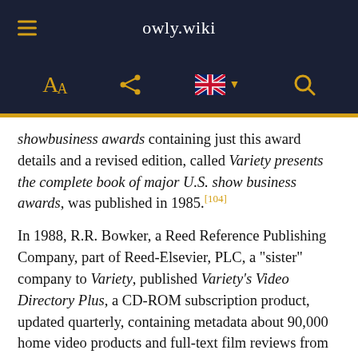owly.wiki
showbusiness awards containing just this award details and a revised edition, called Variety presents the complete book of major U.S. show business awards, was published in 1985.[104]
In 1988, R.R. Bowker, a Reed Reference Publishing Company, part of Reed-Elsevier, PLC, a "sister" company to Variety, published Variety's Video Directory Plus, a CD-ROM subscription product, updated quarterly, containing metadata about 90,000 home video products and full-text film reviews from Variety.
Peter Cowie joined Variety in 1989[105] and his